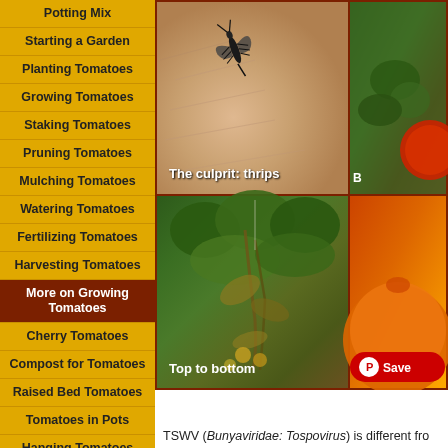Potting Mix
Starting a Garden
Planting Tomatoes
Growing Tomatoes
Staking Tomatoes
Pruning Tomatoes
Mulching Tomatoes
Watering Tomatoes
Fertilizing Tomatoes
Harvesting Tomatoes
More on Growing Tomatoes
Cherry Tomatoes
Compost for Tomatoes
Raised Bed Tomatoes
Tomatoes in Pots
Hanging Tomatoes
Grafted Tomatoes
[Figure (photo): Four-panel photo grid: top-left shows a thrips insect on human skin with label 'The culprit: thrips'; top-right shows a partially visible tomato plant; bottom-left shows tomato plant damage from top to bottom with label 'Top to bottom'; bottom-right shows a partially visible orange/red tomato. A Pinterest Save button is overlaid at bottom right.]
TSWV (Bunyaviridae: Tospovirus) is different fro...